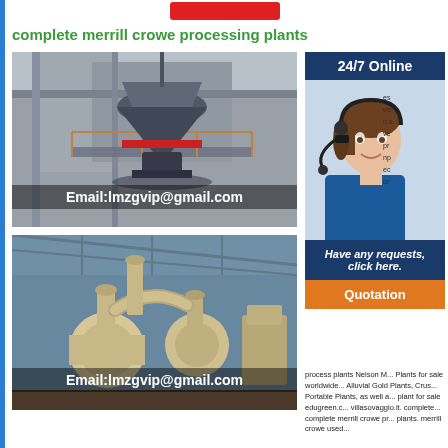complete merrill crowe processing plants
[Figure (photo): Industrial cone crusher/grinding mill equipment on elevated platform, with text overlay Email:lmzgvip@gmail.com]
[Figure (photo): Industrial milling equipment inside warehouse facility, with text overlay Email:lmzgvip@gmail.com]
[Figure (photo): Customer service agent with headset - 24/7 Online support panel]
Have any requests, click here.
Quotation
process plants Nelson M... Plants for sale worldwide... Alluvial Gold Plants, Crus... Portable Plants, as well a... plant for sale edugreen.c... villasovaggio.it. complete... complete merrill crowe pr... plants. merrill crowe used...